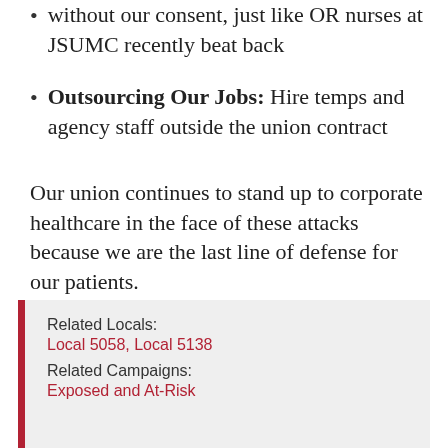without our consent, just like OR nurses at JSUMC recently beat back
Outsourcing Our Jobs: Hire temps and agency staff outside the union contract
Our union continues to stand up to corporate healthcare in the face of these attacks because we are the last line of defense for our patients.
It’s up to us to stand united and fight to raise the bar!
Related Locals:
Local 5058, Local 5138
Related Campaigns:
Exposed and At-Risk